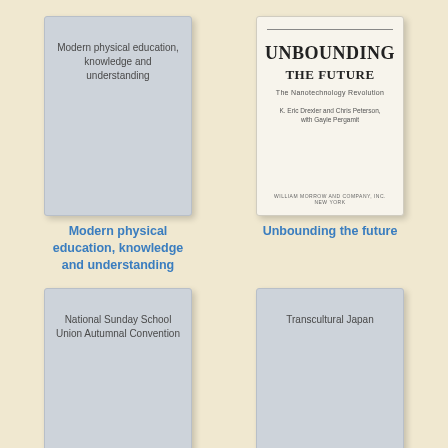[Figure (illustration): Book cover for 'Modern physical education, knowledge and understanding' with gray cover]
[Figure (illustration): Book cover for 'Unbounding the Future: The Nanotechnology Revolution' by K. Eric Drexler and Chris Peterson with Gayle Pergamit, white cover with title text]
Modern physical education, knowledge and understanding
Unbounding the future
[Figure (illustration): Book cover for 'National Sunday School Union Autumnal Convention' with gray cover]
[Figure (illustration): Book cover for 'Transcultural Japan' with gray cover]